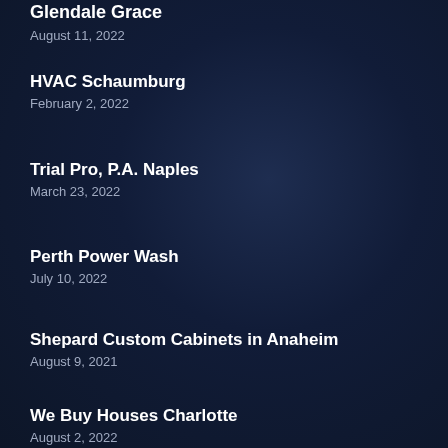Glendale Grace
August 11, 2022
HVAC Schaumburg
February 2, 2022
Trial Pro, P.A. Naples
March 23, 2022
Perth Power Wash
July 10, 2022
Shepard Custom Cabinets in Anaheim
August 9, 2021
We Buy Houses Charlotte
August 2, 2022